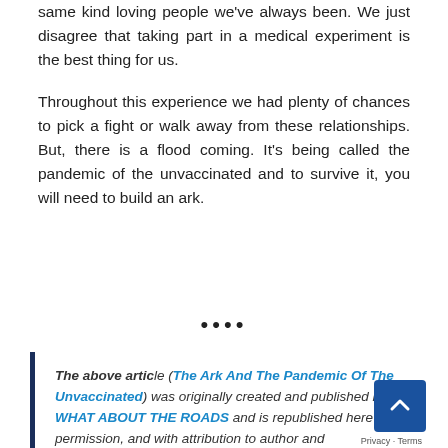same kind loving people we've always been. We just disagree that taking part in a medical experiment is the best thing for us.
Throughout this experience we had plenty of chances to pick a fight or walk away from these relationships. But, there is a flood coming. It's being called the pandemic of the unvaccinated and to survive it, you will need to build an ark.
••••
The above article (The Ark And The Pandemic Of The Unvaccinated) was originally created and published by WHAT ABOUT THE ROADS and is republished here with permission, and with attribution to author and whatabouttheroads.co.